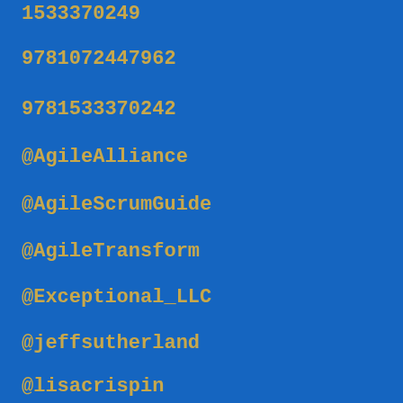1533370249
9781072447962
9781533370242
@AgileAlliance
@AgileScrumGuide
@AgileTransform
@Exceptional_LLC
@jeffsutherland
@lisacrispin
@mikewcohn